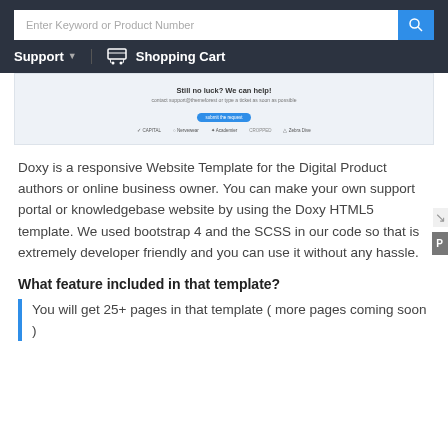Enter Keyword or Product Number | Support | Shopping Cart
[Figure (screenshot): Screenshot of a support portal showing 'Still no luck? We can help!' section with a contact/submit button and brand logos including CAPITAL, Nervewear, Academier, Cropped, Zebra Dive]
Doxy is a responsive Website Template for the Digital Product authors or online business owner. You can make your own support portal or knowledgebase website by using the Doxy HTML5 template. We used bootstrap 4 and the SCSS in our code so that is extremely developer friendly and you can use it without any hassle.
What feature included in that template?
You will get 25+ pages in that template ( more pages coming soon )